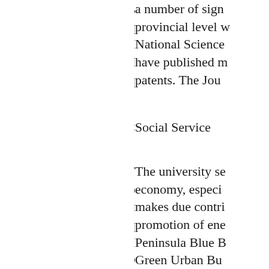a number of sign... provincial level w... National Science... have published m... patents. The Jou...
Social Service
The university se... economy, especia... makes due contri... promotion of ene... Peninsula Blue B... Green Urban Bu... signed more than...